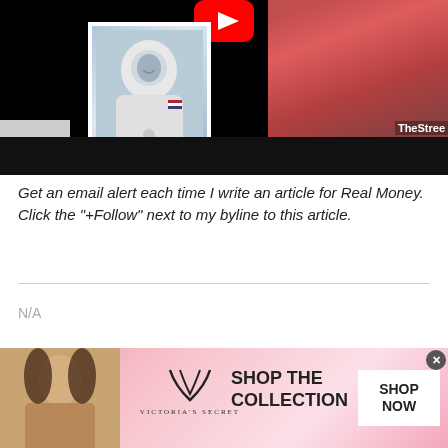[Figure (screenshot): YouTube thumbnail banner showing an astronaut in a spacesuit (center-left) and a woman in a pink outfit (right), on a dark background with YouTube logo at top and TheStreet watermark.]
Get an email alert each time I write an article for Real Money. Click the "+Follow" next to my byline to this article.
N/A
[Figure (photo): Victoria's Secret advertisement banner with a model, VS logo, 'SHOP THE COLLECTION' text, and 'SHOP NOW' button on a pink gradient background.]